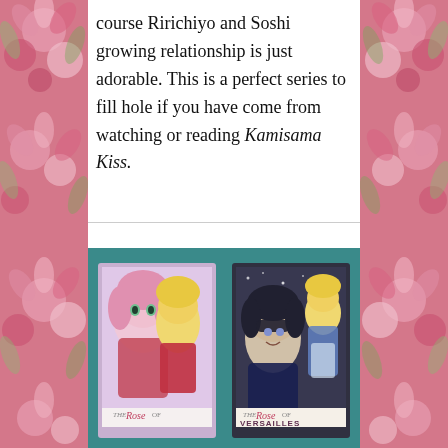course Ririchiyo and Soshi growing relationship is just adorable. This is a perfect series to fill hole if you have come from watching or reading Kamisama Kiss.
[Figure (photo): Photo of two manga book covers for 'The Rose of Versailles' placed on a teal/turquoise fabric surface. Left book shows a pink-haired girl and a blonde character in red military uniform. Right book shows a dark-haired character in a mask with a blonde figure in blue/white dress. Both book covers show partial title text 'The Rose of Versailles' at the bottom.]